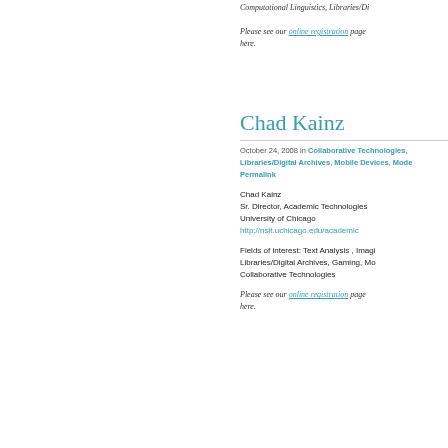Computational Linguistics, Libraries/Digital Archives...
Please see our online registration page here.
Chad Kainz
October 24, 2008 in Collaborative Technologies, Libraries/Digital Archives, Mobile Devices, Mode... Permalink
Chad Kainz
Sr. Director, Academic Technologies
University of Chicago
http://nsit.uchicago.edu/academic
Fields of interest: Text Analysis , Imaging, Libraries/Digital Archives, Gaming, Mobile Devices, Collaborative Technologies
Please see our online registration page here.